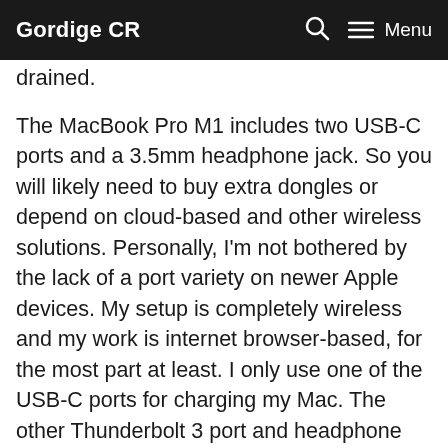Gordige CR  🔍  ☰ Menu
drained.
The MacBook Pro M1 includes two USB-C ports and a 3.5mm headphone jack. So you will likely need to buy extra dongles or depend on cloud-based and other wireless solutions. Personally, I'm not bothered by the lack of a port variety on newer Apple devices. My setup is completely wireless and my work is internet browser-based, for the most part at least. I only use one of the USB-C ports for charging my Mac. The other Thunderbolt 3 port and headphone jack remain untouched.
This powerhouse comes with 8GB of RAM, but it's upgradable to 16GB — if you require the